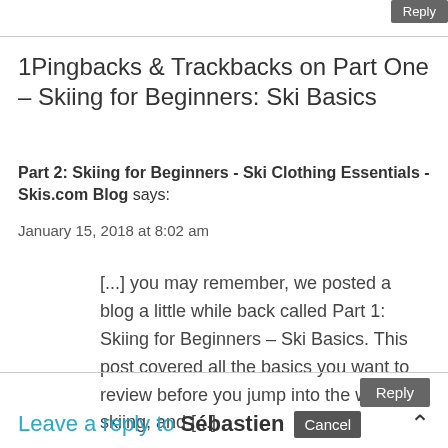Reply
1Pingbacks & Trackbacks on Part One – Skiing for Beginners: Ski Basics
Part 2: Skiing for Beginners - Ski Clothing Essentials - Skis.com Blog says:
January 15, 2018 at 8:02 am
[...] you may remember, we posted a blog a little while back called Part 1: Skiing for Beginners – Ski Basics. This post covered all the basics you want to review before you jump into the world of skiing, and [...]
Reply
Leave a reply to Sébastien Cancel